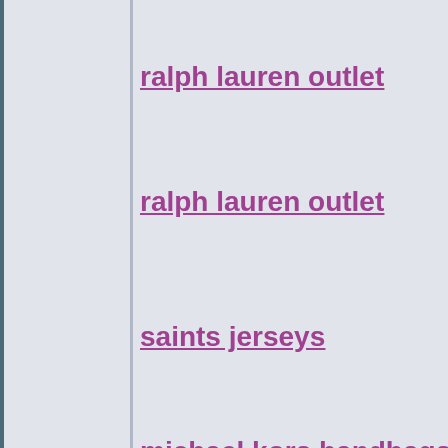ralph lauren outlet
ralph lauren outlet
saints jerseys
michael kors handbags
nike shoes